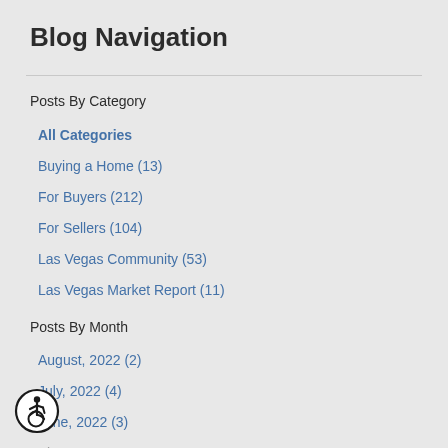Blog Navigation
Posts By Category
All Categories
Buying a Home  (13)
For Buyers  (212)
For Sellers  (104)
Las Vegas Community  (53)
Las Vegas Market Report  (11)
Posts By Month
August, 2022  (2)
July, 2022  (4)
June, 2022  (3)
View More:
[Figure (illustration): Accessibility icon: person in wheelchair inside a circle]